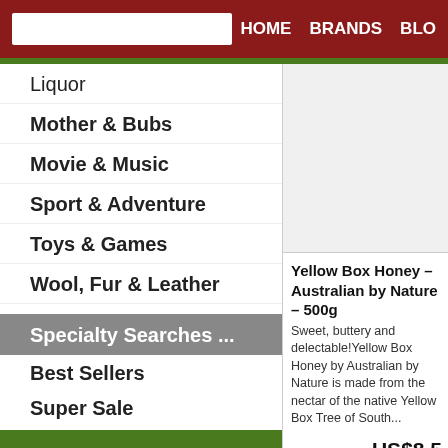HOME  BRANDS  BLO
Liquor
Mother & Bubs
Movie & Music
Sport & Adventure
Toys & Games
Wool, Fur & Leather
Specialty Searches ...
Best Sellers
Super Sale
Hot Deals
Bundle Deals
Gift Certificates
Gift Ideas
[Figure (photo): Product image area - white/light grey box]
Yellow Box Honey – Australian by Nature – 500g
Sweet, buttery and delectable!Yellow Box Honey by Australian by Nature is made from the nectar of the native Yellow Box Tree of South...
US$8.5
Quantity * 1
ADD TO CART